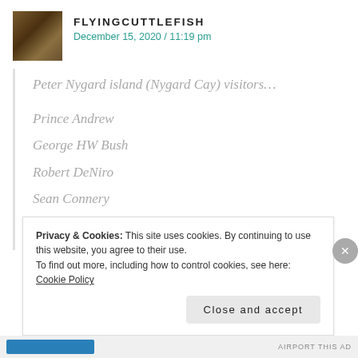FLYINGCUTTLEFISH — December 15, 2020 / 11:19 pm
Peter Nygard island (Nygard Cay) visitors...
Prince Andrew
George HW Bush
Robert DeNiro
Sean Connery
Oprah Winfrey
Privacy & Cookies: This site uses cookies. By continuing to use this website, you agree to their use.
To find out more, including how to control cookies, see here: Cookie Policy
Close and accept